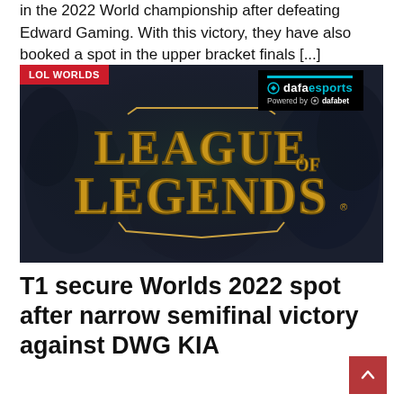in the 2022 World championship after defeating Edward Gaming. With this victory, they have also booked a spot in the upper bracket finals [...]
[Figure (screenshot): League of Legends branded image with 'LOL WORLDS' red badge in top-left and 'dafaesports Powered by dafabet' badge in top-right. The image shows the League of Legends logo in gold lettering on a dark fantasy background.]
T1 secure Worlds 2022 spot after narrow semifinal victory against DWG KIA